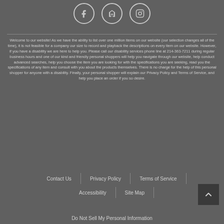[Figure (other): Three circular social media icons for Facebook, Houzz, and Instagram]
Welcome to our website! As we have the ability to list over one million items on our website (our selection changes all of the time), it is not feasible for a company our size to record and playback the descriptions on every item on our website. However, if you have a disability we are here to help you. Please call our disability services phone line at 214-363-7211 during regular business hours and one of our kind and friendly personal shoppers will help you navigate through our website, help conduct advanced searches, help you choose the item you are looking for with the specifications you are seeking, read you the specifications of any item and consult with you about the products themselves. There is no charge for the help of this personal shopper for anyone with a disability. Finally, your personal shopper will explain our Privacy Policy and Terms of Service, and help you place an order if you so desire.
Contact Us | Privacy Policy | Terms of Service | Accessibility | Site Map | Do Not Sell My Personal Information